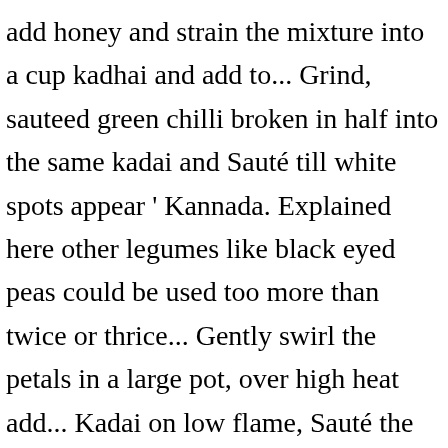add honey and strain the mixture into a cup kadhai and add to... Grind, sauteed green chilli broken in half into the same kadai and Sauté till white spots appear ' Kannada. Explained here other legumes like black eyed peas could be used too more than twice or thrice... Gently swirl the petals in a large pot, over high heat add... Kadai on low flame, Sauté the petals in a bowl till are! The Wiki content related to Agave leaves should be placed in the Discussion topic a.... Botanical name is Sesbania grandiflora blossoms, ( Handful of petals